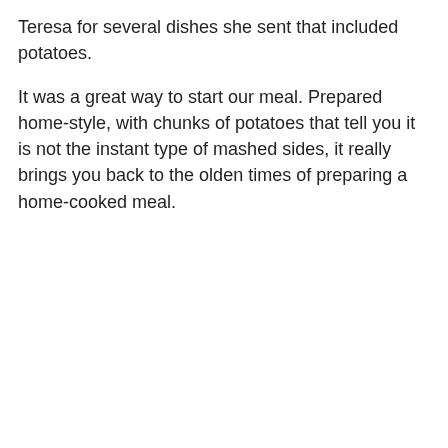Teresa for several dishes she sent that included potatoes.
It was a great way to start our meal. Prepared home-style, with chunks of potatoes that tell you it is not the instant type of mashed sides, it really brings you back to the olden times of preparing a home-cooked meal.